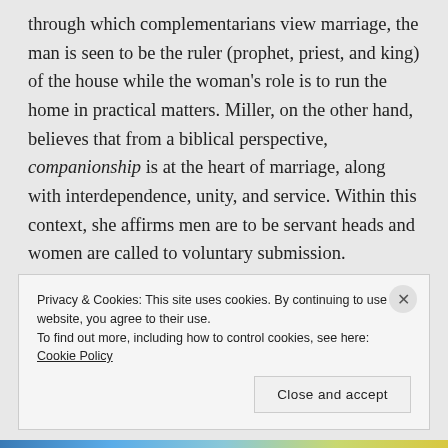through which complementarians view marriage, the man is seen to be the ruler (prophet, priest, and king) of the house while the woman's role is to run the home in practical matters. Miller, on the other hand, believes that from a biblical perspective, companionship is at the heart of marriage, along with interdependence, unity, and service. Within this context, she affirms men are to be servant heads and women are called to voluntary submission.
Privacy & Cookies: This site uses cookies. By continuing to use this website, you agree to their use. To find out more, including how to control cookies, see here: Cookie Policy
Close and accept